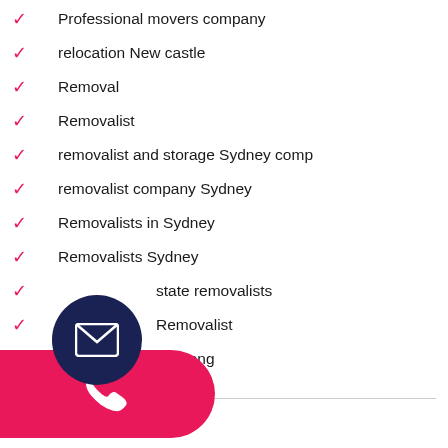Professional movers company
relocation New castle
Removal
Removalist
removalist and storage Sydney comp
removalist company Sydney
Removalists in Sydney
Removalists Sydney
state removalists
Sydney Removalist
llongong
[Figure (other): Dark navy circular email icon button with white envelope icon]
[Figure (other): Pink rounded phone button with white phone icon]
Archives